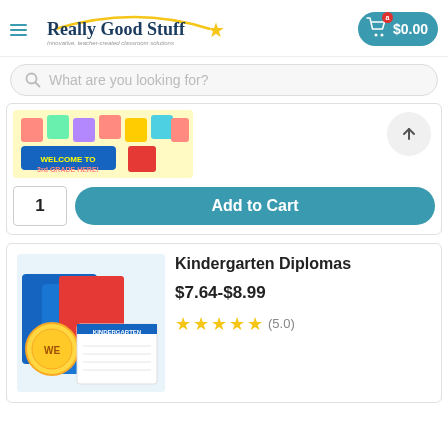[Figure (logo): Really Good Stuff logo with star and tagline 'Innovative, teacher-created classroom solutions']
[Figure (screenshot): Shopping cart button showing $0.00]
What are you looking for?
[Figure (photo): Colorful classroom banner product image with t-shirts]
[Figure (other): Scroll up arrow button]
1
Add to Cart
[Figure (photo): Kindergarten Diplomas product image showing blue diploma covers and gold medallion]
Kindergarten Diplomas
$7.64-$8.99
(5.0)